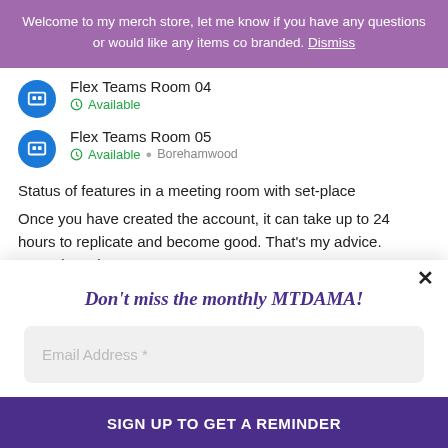Welcome to my merch store, let me know if you have any questions or would like any items co branded. Dismiss
Flex Teams Room 04
Available
Flex Teams Room 05
Available  Borehamwood
Status of features in a meeting room with set-place
Once you have created the account, it can take up to 24 hours to replicate and become good. That's my advice. Sometimes it
Don't miss the monthly MTDAMA!
Email Address *
SIGN UP TO GET A REMINDER